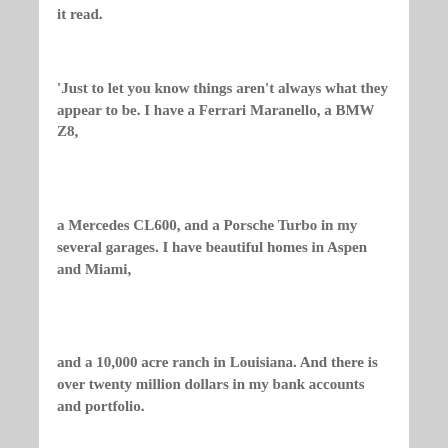it read.
'Just to let you know things aren't always what they appear to be. I have a Ferrari Maranello, a BMW Z8,
a Mercedes CL600, and a Porsche Turbo in my several garages. I have beautiful homes in Aspen and Miami,
and a 10,000 acre ranch in Louisiana. And there is over twenty million dollars in my bank accounts and portfolio.